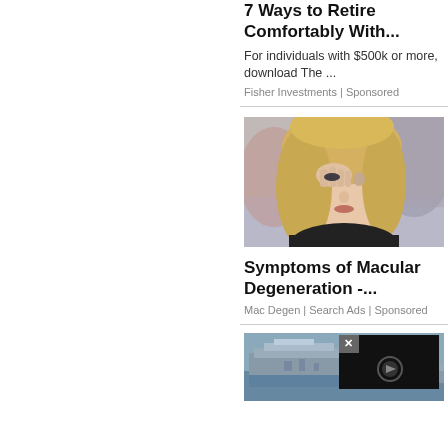7 Ways to Retire Comfortably With...
For individuals with $500k or more, download The ...
Fisher Investments | Sponsored
[Figure (photo): Photo of a blonde woman touching her eye, looking distressed, outdoors]
Symptoms of Macular Degeneration -...
Mac Degen | Search Ads | Sponsored
[Figure (photo): Aerial photo of a naval ship/carrier with an overlaid video player panel with close button]